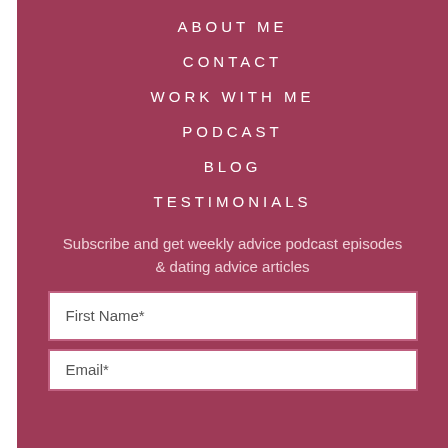ABOUT ME
CONTACT
WORK WITH ME
PODCAST
BLOG
TESTIMONIALS
Subscribe and get weekly advice podcast episodes & dating advice articles